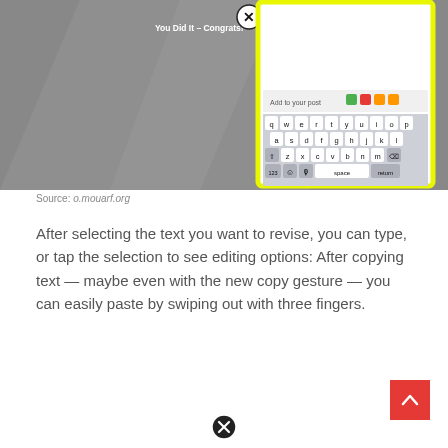[Figure (screenshot): Screenshot of a phone showing a Facebook post compose screen with 'You Did It – Congrats!' overlay and a mobile keyboard visible, highlighted with yellow border. A close (X) button is in top-right corner.]
Source: o.mouarf.org
After selecting the text you want to revise, you can type, or tap the selection to see editing options: After copying text — maybe even with the new copy gesture — you can easily paste by swiping out with three fingers.